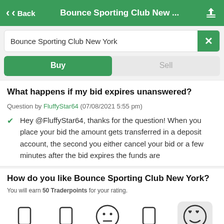Back | Bounce Sporting Club New ...
Bounce Sporting Club New York
Buy | Sell
What happens if my bid expires unanswered?
Question by FluffyStar64 (07/08/2021 5:55 pm)
Hey @FluffyStar64, thanks for the question! When you place your bid the amount gets transferred in a deposit account, the second you either cancel your bid or a few minutes after the bid expires the funds are
How do you like Bounce Sporting Club New York?
You will earn 50 Traderpoints for your rating.
[Figure (other): Five emoji rating icons (two empty rectangles, a neutral face emoji, an empty rectangle, and a heart-eyes smiley face on a highlighted background)]